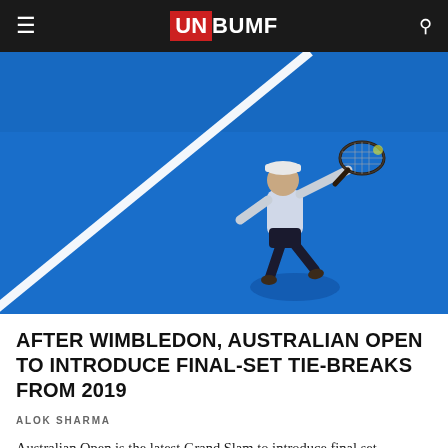UNBUMF
[Figure (photo): Aerial view of a tennis player in a white cap and dark shorts hitting a backhand on a bright blue hard court, with a white court line visible diagonally.]
AFTER WIMBLEDON, AUSTRALIAN OPEN TO INTRODUCE FINAL-SET TIE-BREAKS FROM 2019
ALOK SHARMA
Australian Open is the latest Grand Slam to introduce final set